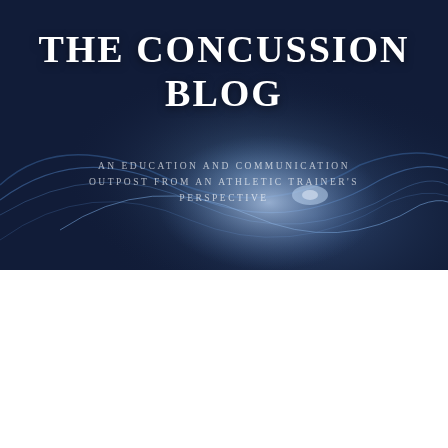[Figure (illustration): Dark blue abstract background with glowing blue light wave lines, serving as the header banner for 'The Concussion Blog']
THE CONCUSSION BLOG
AN EDUCATION AND COMMUNICATION OUTPOST FROM AN ATHLETIC TRAINER'S PERSPECTIVE
THROWBACK
Taylor Twellman Story (9/21/2010)